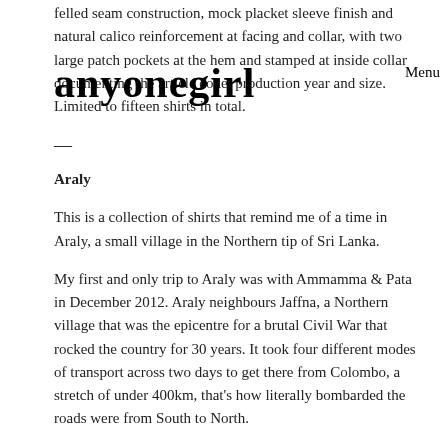felled seam construction, mock placket sleeve finish and natural calico reinforcement at facing and collar, with two large patch pockets at the hem and stamped at inside collar documenting the article code, production year and size. Limited to fifteen shirts in total.
anyonegirl
Menu
—
Araly
This is a collection of shirts that remind me of a time in Araly, a small village in the Northern tip of Sri Lanka.
My first and only trip to Araly was with Ammamma & Pata in December 2012. Araly neighbours Jaffna, a Northern village that was the epicentre for a brutal Civil War that rocked the country for 30 years. It took four different modes of transport across two days to get there from Colombo, a stretch of under 400km, that's how literally bombarded the roads were from South to North.
It was hot, and I was there in monsoon season. I'd never seen rain like monsoon rain, falling to the ground dramatically like a show curtain, its sound like a never-ending applause. Between patches of lush rice paddy fields, bicycle riders would neatly prop up umbrellas with one hand while they shimmy along the most